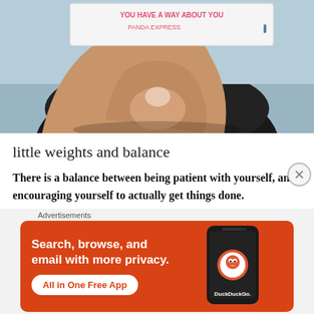[Figure (photo): A hand holding a Panda Express fortune cookie slip that reads 'YOU HAVE A WAY ABOUT YOU' and 'PANDA EXPRESS', held above a dark round bowl or cup.]
little weights and balance
There is a balance between being patient with yourself, and encouraging yourself to actually get things done.
Advertisements
[Figure (screenshot): DuckDuckGo advertisement banner with orange background. Text: 'Search, browse, and email with more privacy. All in One Free App' with a phone mockup showing the DuckDuckGo app and logo.]